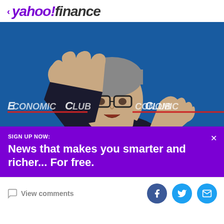< yahoo!finance
[Figure (photo): A man in a dark suit and tie with glasses, gesturing with both hands raised, speaking at The Economic Club event with blue branded backdrop]
SIGN UP NOW: News that makes you smarter and richer... For free.
View comments